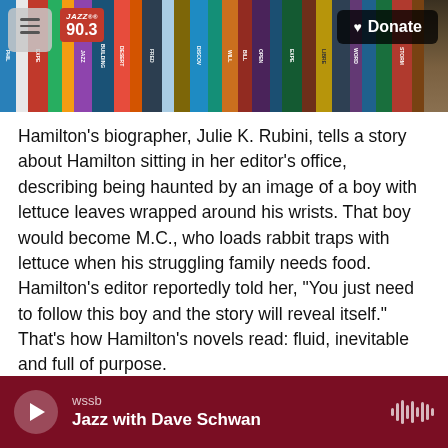[Figure (photo): A header image showing a bookshelf with colorful book spines, with overlaid UI elements: a hamburger menu icon on the left, a Jazz 90.3 radio station logo in red, and a Donate button on the right]
Hamilton's biographer, Julie K. Rubini, tells a story about Hamilton sitting in her editor's office, describing being haunted by an image of a boy with lettuce leaves wrapped around his wrists. That boy would become M.C., who loads rabbit traps with lettuce when his struggling family needs food. Hamilton's editor reportedly told her, "You just need to follow this boy and the story will reveal itself." That's how Hamilton's novels read: fluid, inevitable and full of purpose.
Copyright 2022 Fresh Air. To see more, visit Fresh Air.
[Figure (screenshot): A media player bar at the bottom showing wssb station playing Jazz with Dave Schwan, with a play button on the left and audio waveform icon on the right]